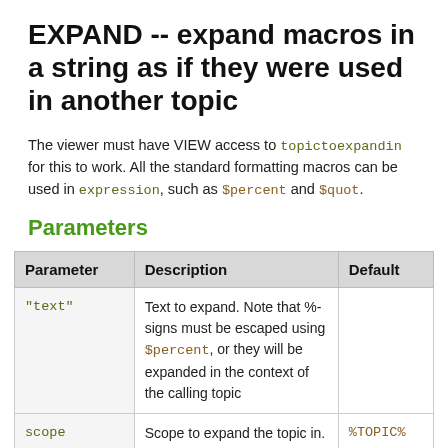EXPAND -- expand macros in a string as if they were used in another topic
The viewer must have VIEW access to topictoexpandin for this to work. All the standard formatting macros can be used in expression, such as $percent and $quot.
Parameters
| Parameter | Description | Default |
| --- | --- | --- |
| "text" | Text to expand. Note that %-signs must be escaped using $percent, or they will be expanded in the context of the calling topic |  |
| scope | Scope to expand the topic in. This is the name of a topic. You can use Web.Topic syntax to refer to a topic | %TOPIC% |